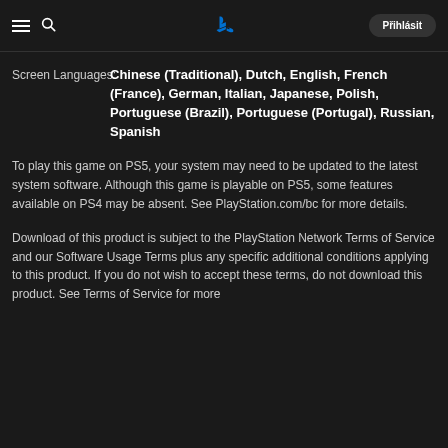≡ 🔍 [PlayStation Logo] Přihlásit
Screen Languages: Chinese (Traditional), Dutch, English, French (France), German, Italian, Japanese, Polish, Portuguese (Brazil), Portuguese (Portugal), Russian, Spanish
To play this game on PS5, your system may need to be updated to the latest system software. Although this game is playable on PS5, some features available on PS4 may be absent. See PlayStation.com/bc for more details.
Download of this product is subject to the PlayStation Network Terms of Service and our Software Usage Terms plus any specific additional conditions applying to this product. If you do not wish to accept these terms, do not download this product. See Terms of Service for more